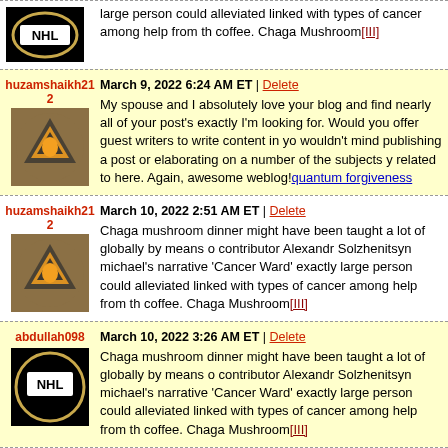large person could alleviated linked with types of cancer among help from ... coffee. Chaga Mushroom[III]
huzamshaikh21 | March 9, 2022 6:24 AM ET | Delete
2
My spouse and I absolutely love your blog and find nearly all of your post's exactly I'm looking for. Would you offer guest writers to write content in you wouldn't mind publishing a post or elaborating on a number of the subjects y related to here. Again, awesome weblog!quantum forgiveness
huzamshaikh21 | March 10, 2022 2:51 AM ET | Delete
2
Chaga mushroom dinner might have been taught a lot of globally by means o contributor Alexandr Solzhenitsyn michael's narrative 'Cancer Ward' exactly large person could alleviated linked with types of cancer among help from th coffee. Chaga Mushroom[III]
abdullah098 | March 10, 2022 3:26 AM ET | Delete
Chaga mushroom dinner might have been taught a lot of globally by means o contributor Alexandr Solzhenitsyn michael's narrative 'Cancer Ward' exactly large person could alleviated linked with types of cancer among help from th coffee. Chaga Mushroom[III]
ShayAn | March 10, 2022 3:53 AM ET | Delete